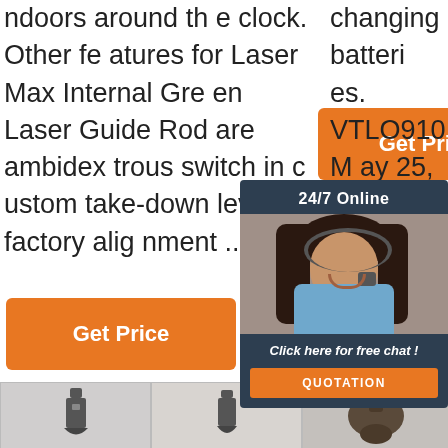ndoors around the clock. Other features for Laser Max Internal Green Laser Guide Rod are ambidextrous switch in custom take-down lever; factory alignment ...
[Figure (screenshot): Orange 'Get Price' button in middle column]
changing batteries. VTLO910. May 25, 2011 #8 I like the Crimson Trace it is nipu r O...
[Figure (infographic): 24/7 Online chat popup with agent photo, 'Click here for free chat!' text, and QUOTATION button]
[Figure (screenshot): Orange 'Get Price' button at bottom left]
[Figure (screenshot): Partial orange 'G' button at right]
[Figure (infographic): TOP icon with orange dots and orange text]
[Figure (photo): Three product images at bottom - firearm accessories/brackets]